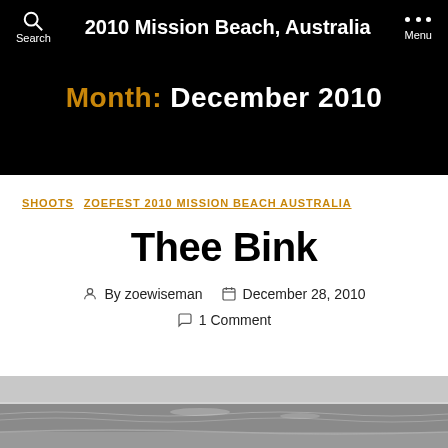2010 Mission Beach, Australia
Month: December 2010
SHOOTS   ZOEFEST 2010 MISSION BEACH AUSTRALIA
Thee Bink
By zoewiseman   December 28, 2010   1 Comment
[Figure (photo): Black and white photo of Mission Beach, Australia — a seascape with water, beach and sky]